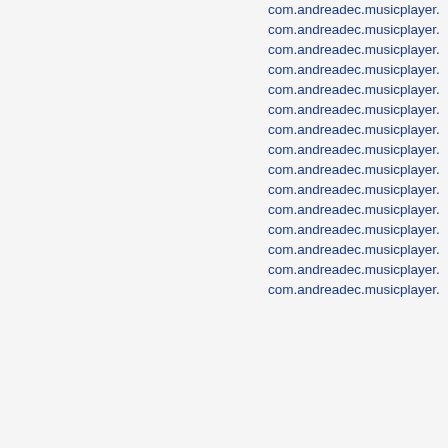com.andreadec.musicplayer.
com.andreadec.musicplayer.
com.andreadec.musicplayer.
com.andreadec.musicplayer.
com.andreadec.musicplayer.
com.andreadec.musicplayer.
com.andreadec.musicplayer.
com.andreadec.musicplayer.
com.andreadec.musicplayer.
com.andreadec.musicplayer.
com.andreadec.musicplayer.
com.andreadec.musicplayer.
com.andreadec.musicplayer.
com.andreadec.musicplayer.
com.andreadec.musicplayer.